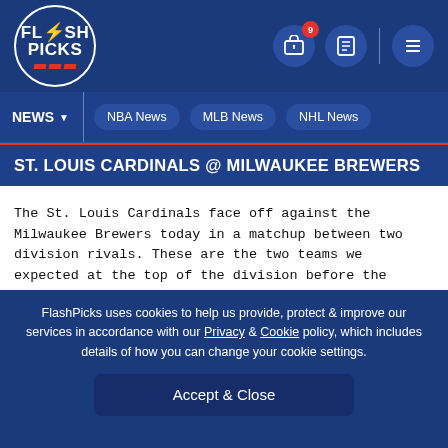[Figure (logo): FlashPicks logo - circular badge with lightning bolt, white text on dark blue background]
NEWS | NBA News | MLB News | NHL News
ST. LOUIS CARDINALS @ MILWAUKEE BREWERS
The St. Louis Cardinals face off against the Milwaukee Brewers today in a matchup between two division rivals. These are the two teams we expected at the top of the division before the season started, and these are the two teams at the top of the division mid-way through June. These teams have identical records at 39-31 to lead the NL Central. The next closest team in the division is the Pirates at 28-39.
FlashPicks uses cookies to help us provide, protect & improve our services in accordance with our Privacy & Cookie policy, which includes details of how you can change your cookie settings.
Accept & Close